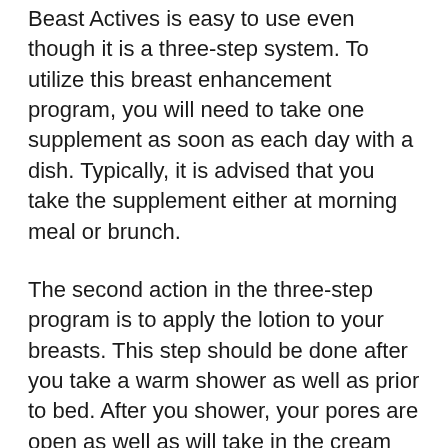Beast Actives is easy to use even though it is a three-step system. To utilize this breast enhancement program, you will need to take one supplement as soon as each day with a dish. Typically, it is advised that you take the supplement either at morning meal or brunch.
The second action in the three-step program is to apply the lotion to your breasts. This step should be done after you take a warm shower as well as prior to bed. After you shower, your pores are open as well as will take in the cream much easier than if your pores are closed. To apply the cream, place a small amount in your hand as well as scrub right into your breast utilizing a circular